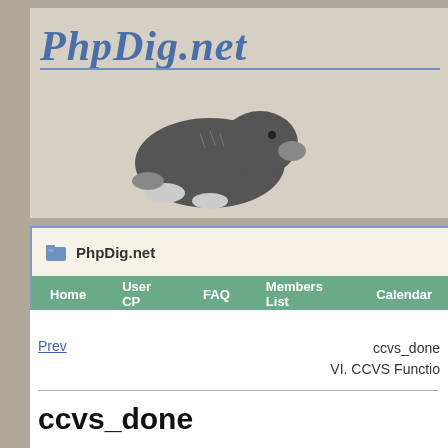[Figure (logo): PhpDig.net logo with italic bold blue text and a mole illustration]
PhpDig.net
Home | User CP | FAQ | Members List | Calendar
ccvs_done
VI. CCVS Functio
Prev
ccvs_done